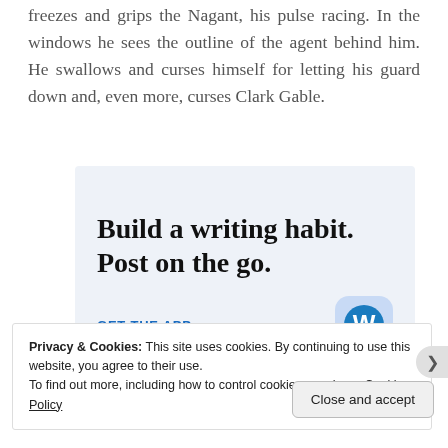freezes and grips the Nagant, his pulse racing. In the windows he sees the outline of the agent behind him. He swallows and curses himself for letting his guard down and, even more, curses Clark Gable.
[Figure (infographic): WordPress app advertisement with light blue background. Headline reads 'Build a writing habit. Post on the go.' with a 'GET THE APP' call-to-action link and the WordPress logo icon on the right.]
Privacy & Cookies: This site uses cookies. By continuing to use this website, you agree to their use.
To find out more, including how to control cookies, see here: Cookie Policy
Close and accept